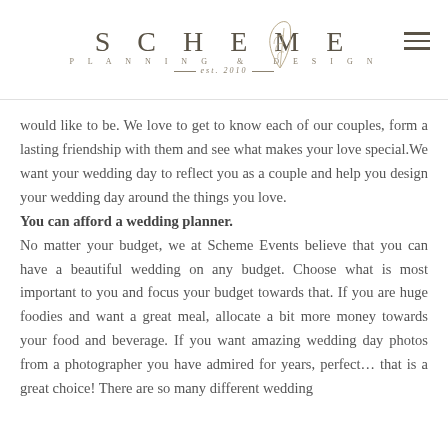SCHEME PLANNING & DESIGN est. 2010
would like to be. We love to get to know each of our couples, form a lasting friendship with them and see what makes your love special.We want your wedding day to reflect you as a couple and help you design your wedding day around the things you love.
You can afford a wedding planner. No matter your budget, we at Scheme Events believe that you can have a beautiful wedding on any budget. Choose what is most important to you and focus your budget towards that. If you are huge foodies and want a great meal, allocate a bit more money towards your food and beverage. If you want amazing wedding day photos from a photographer you have admired for years, perfect… that is a great choice! There are so many different wedding